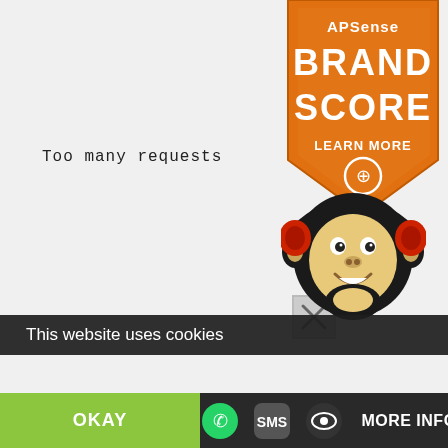[Figure (logo): APSense Brand Score badge - orange shield with text 'APSense BRAND SCORE LEARN MORE' and a plus/search icon]
Too many requests
[Figure (illustration): Close/X button in gray square]
[Figure (illustration): Cartoon monkey mascot with headphones and smiling face]
This website uses cookies
OKAY
MORE INFO